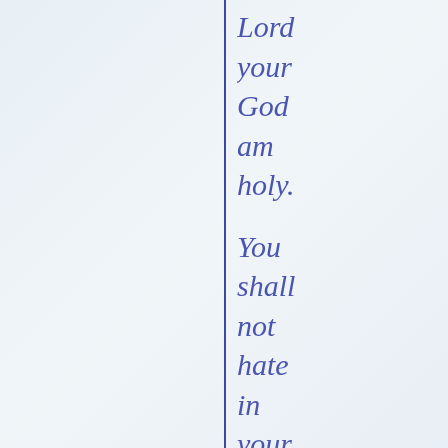Lord your God am holy. You shall not hate in your heart anyone of your ki...